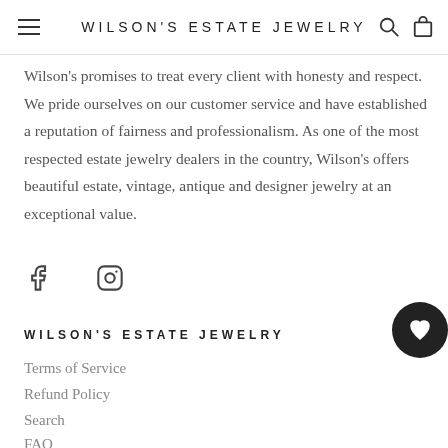WILSON'S ESTATE JEWELRY
Wilson's promises to treat every client with honesty and respect. We pride ourselves on our customer service and have established a reputation of fairness and professionalism. As one of the most respected estate jewelry dealers in the country, Wilson's offers beautiful estate, vintage, antique and designer jewelry at an exceptional value.
[Figure (illustration): Facebook and Instagram social media icons]
WILSON'S ESTATE JEWELRY
Terms of Service
Refund Policy
Search
FAQ
Wishlist